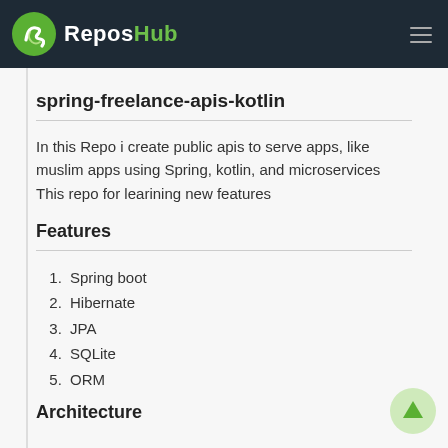ReposHub
spring-freelance-apis-kotlin
In this Repo i create public apis to serve apps, like muslim apps using Spring, kotlin, and microservices This repo for learining new features
Features
Spring boot
Hibernate
JPA
SQLite
ORM
Architecture